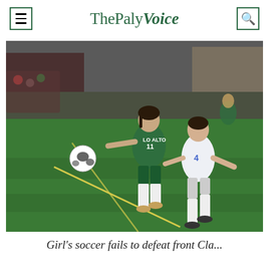ThePaly Voice
[Figure (photo): Two female soccer players on a green turf field at night. Player on the left wears a dark green Palo Alto jersey numbered 11 and is controlling a soccer ball. Player on the right wears a white jersey numbered 4 and is running toward the ball.]
Girl's soccer fails to defeat front Cla...